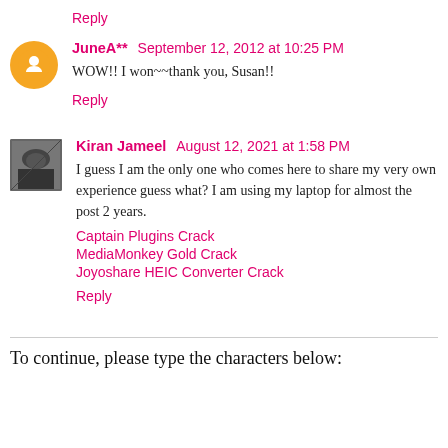Reply
JuneA** September 12, 2012 at 10:25 PM
WOW!! I won~~thank you, Susan!!
Reply
Kiran Jameel August 12, 2021 at 1:58 PM
I guess I am the only one who comes here to share my very own experience guess what? I am using my laptop for almost the post 2 years.
Captain Plugins Crack
MediaMonkey Gold Crack
Joyoshare HEIC Converter Crack
Reply
To continue, please type the characters below: